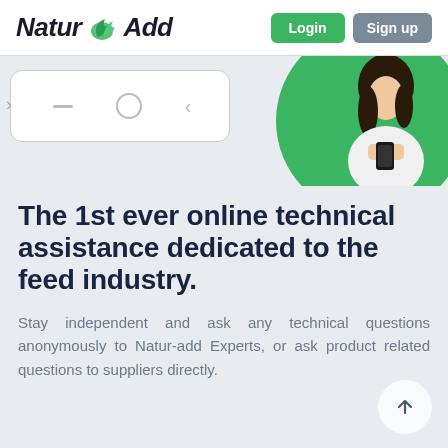Natur Add — Login | Sign up
[Figure (screenshot): Mobile phone navigation bar mockup showing three navigation icons (lines, circle, back arrow) on white background, with a woman holding a smartphone on a green circular background to the right]
The 1st ever online technical assistance dedicated to the feed industry.
Stay independent and ask any technical questions anonymously to Natur-add Experts, or ask product related questions to suppliers directly.